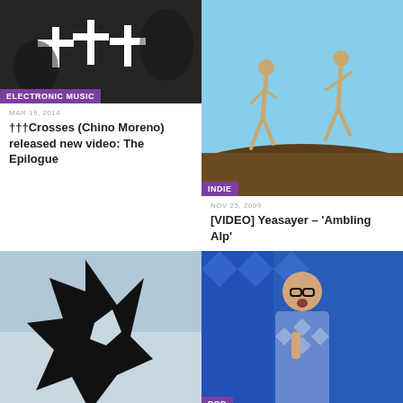[Figure (photo): Black and white photo with cross symbols (†††), badge: ELECTRONIC MUSIC]
MAR 19, 2014
†††Crosses (Chino Moreno) released new video: The Epilogue
[Figure (photo): Two people running on rocks, badge: INDIE]
NOV 25, 2009
[VIDEO] Yeasayer – 'Ambling Alp'
[Figure (photo): Abstract black silhouette figure on blue-grey background]
[Figure (photo): Man with glasses singing on colorful stage, badge: POP]